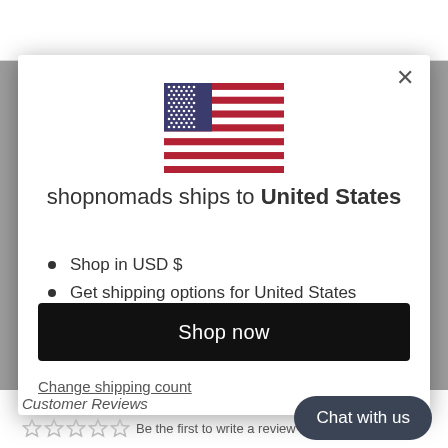[Figure (screenshot): A modal dialog popup on a website called shopnomads. Contains a US flag image, text about shipping, list items, a Shop now button, and a change shipping country link. A Chat with us bubble is in the bottom right corner.]
shopnomads ships to United States
Shop in USD $
Get shipping options for United States
Shop now
Change shipping country
Chat with us
Customer Reviews
Be the first to write a review